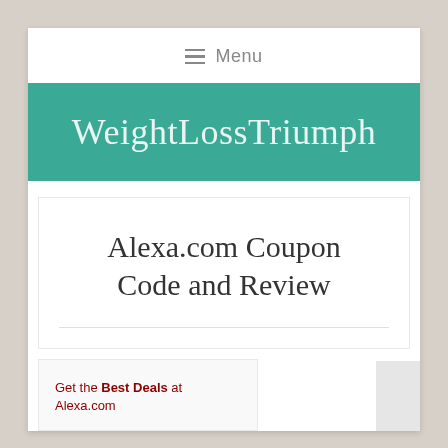≡ Menu
WeightLossTriumph
Alexa.com Coupon Code and Review
Get the Best Deals at Alexa.com